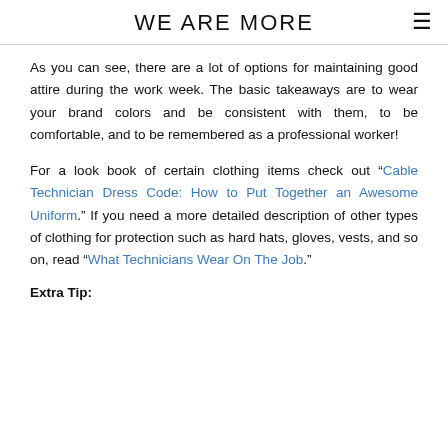WE ARE MORE
As you can see, there are a lot of options for maintaining good attire during the work week. The basic takeaways are to wear your brand colors and be consistent with them, to be comfortable, and to be remembered as a professional worker!
For a look book of certain clothing items check out “Cable Technician Dress Code: How to Put Together an Awesome Uniform.” If you need a more detailed description of other types of clothing for protection such as hard hats, gloves, vests, and so on, read “What Technicians Wear On The Job.”
Extra Tip: